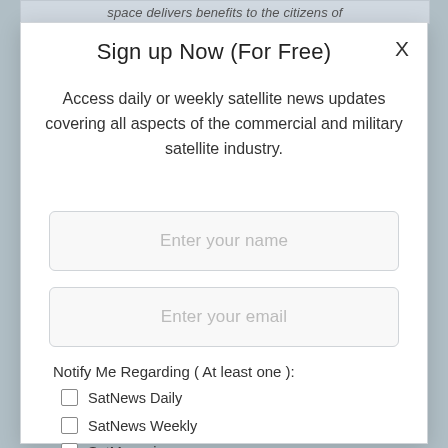space delivers benefits to the citizens of
Sign up Now (For Free)
Access daily or weekly satellite news updates covering all aspects of the commercial and military satellite industry.
Enter your name
Enter your email
Notify Me Regarding ( At least one ):
SatNews Daily
SatNews Weekly
SatMagazine
MilsatMagazine